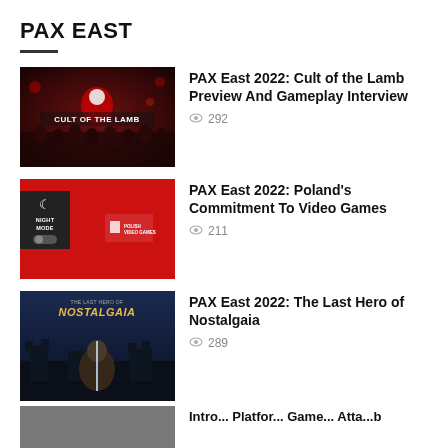PAX EAST
[Figure (photo): Cult of the Lamb game artwork with dark red tones and stylized characters]
PAX East 2022: Cult of the Lamb Preview And Gameplay Interview
292
[Figure (screenshot): Red background with Polish video games logo and night mode UI overlay on the left]
PAX East 2022: Poland's Commitment To Video Games
211
[Figure (photo): Nostalgaia game art with dark fantasy castle background and golden title text]
PAX East 2022: The Last Hero of Nostalgaia
289
[Figure (photo): Partially visible fourth article thumbnail]
Intro... Platfor... Game... Atta...b